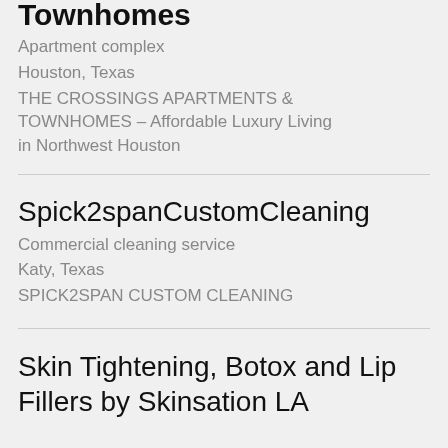Townhomes (partially visible at top)
Apartment complex
Houston, Texas
THE CROSSINGS APARTMENTS & TOWNHOMES – Affordable Luxury Living in Northwest Houston
Spick2spanCustomCleaning
Commercial cleaning service
Katy, Texas
SPICK2SPAN CUSTOM CLEANING
Skin Tightening, Botox and Lip Fillers by Skinsation LA